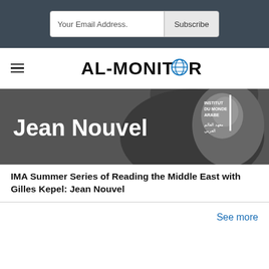Your Email Address. | Subscribe
[Figure (logo): AL-MONITOR logo with globe icon replacing the letter O]
[Figure (photo): Black and white photo with text overlay: Jean Nouvel, and Institut du Monde Arabe logo in the top right corner]
IMA Summer Series of Reading the Middle East with Gilles Kepel: Jean Nouvel
See more